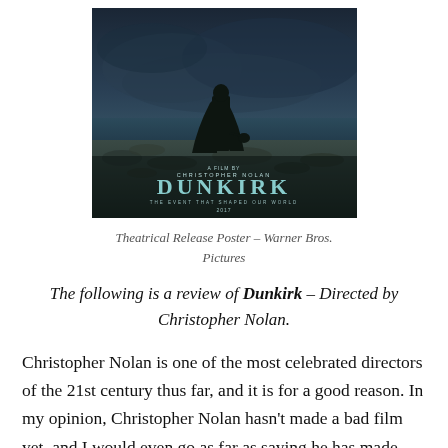[Figure (photo): Theatrical release poster for the film Dunkirk (2017), directed by Christopher Nolan. A silhouetted figure stands on a rocky beach against a dark, moody blue sky. Text reads 'A film by Christopher Nolan — DUNKIRK — THE EVENT THAT SHAPED OUR WORLD — 2017'. Warner Bros. Pictures.]
Theatrical Release Poster – Warner Bros. Pictures
The following is a review of Dunkirk – Directed by Christopher Nolan.
Christopher Nolan is one of the most celebrated directors of the 21st century thus far, and it is for a good reason. In my opinion, Christopher Nolan hasn't made a bad film yet, and I would even go as far as saying he has made multiple masterpieces